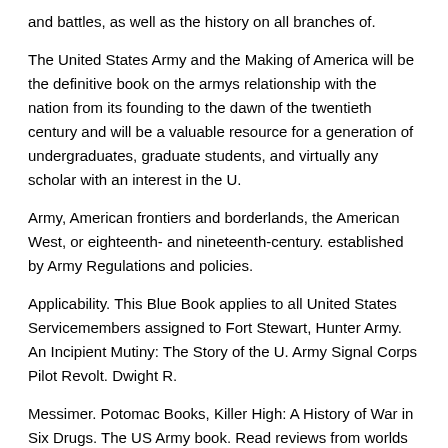and battles, as well as the history on all branches of.
The United States Army and the Making of America will be the definitive book on the armys relationship with the nation from its founding to the dawn of the twentieth century and will be a valuable resource for a generation of undergraduates, graduate students, and virtually any scholar with an interest in the U.
Army, American frontiers and borderlands, the American West, or eighteenth- and nineteenth-century. established by Army Regulations and policies.
Applicability. This Blue Book applies to all United States Servicemembers assigned to Fort Stewart, Hunter Army. An Incipient Mutiny: The Story of the U. Army Signal Corps Pilot Revolt. Dwight R.
Messimer. Potomac Books, Killer High: A History of War in Six Drugs. The US Army book. Read reviews from worlds largest community for readers5. The U. Army's discipline nearly matched that of the best professional European armies. The Blue Book remained the official guide to military training and.